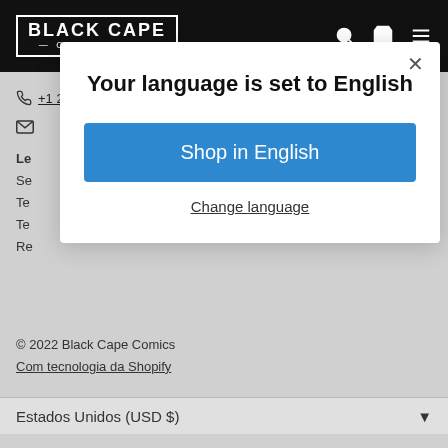[Figure (logo): Black Cape Comics logo — white text in bordered box on black nav bar]
[Figure (infographic): Navigation icons: search, cart, hamburger menu (white on black)]
+1 207 739 4441
[Figure (infographic): Social media icons: Instagram, Facebook, YouTube, Twitter, Pinterest]
Le
Se
Te
Te
Re
Your language is set to English
Shop in English
Change language
© 2022 Black Cape Comics
Com tecnologia da Shopify
Estados Unidos (USD $)